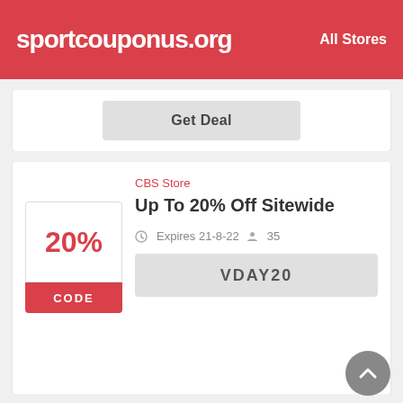sportcouponus.org   All Stores
Get Deal
CBS Store
Up To 20% Off Sitewide
20%
CODE
Expires 21-8-22   35
VDAY20
CBS Store
Save Up To 20% Off Summer Gear
20%